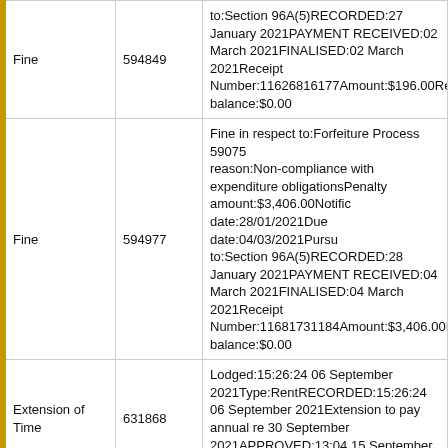| Type | Number | Description |
| --- | --- | --- |
| Fine | 594849 | to:Section 96A(5)RECORDED:27 January 2021PAYMENT RECEIVED:02 March 2021FINALISED:02 March 2021Receipt Number:11626816177Amount:$196.00Rem balance:$0.00 |
| Fine | 594977 | Fine in respect to:Forfeiture Process 590753 reason:Non-compliance with expenditure obligationsPenalty amount:$3,406.00Notification date:28/01/2021Due date:04/03/2021Pursuant to:Section 96A(5)RECORDED:28 January 2021PAYMENT RECEIVED:04 March 2021FINALISED:04 March 2021Receipt Number:11681731184Amount:$3,406.00Re balance:$0.00 |
| Extension of Time | 631868 | Lodged:15:26:24 06 September 2021Type:RentRECORDED:15:26:24 06 September 2021Extension to pay annual re 30 September 2021APPROVED:13:04 15 September 2021 |
| Forfeiture | 634033 | Initiated:13/10/2021 for non-compliance with requirementsRECORDED:10:17:52 13 October 2021Notice Issued:Regulation 50 Notice sent 13/10/2021 for non-compliance with rent requirements pursuant to Reg 109/Sec 63A payment of rent.Compliance Date:17/11/2021FINALISED:Order by Minis |